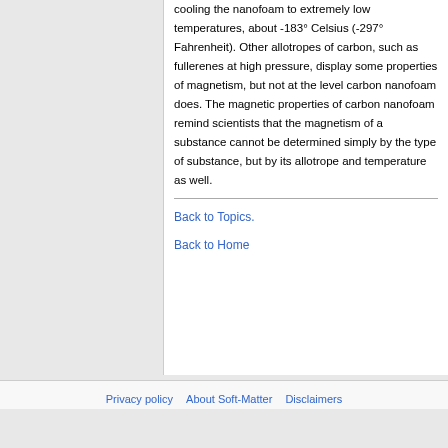cooling the nanofoam to extremely low temperatures, about -183° Celsius (-297° Fahrenheit). Other allotropes of carbon, such as fullerenes at high pressure, display some properties of magnetism, but not at the level carbon nanofoam does. The magnetic properties of carbon nanofoam remind scientists that the magnetism of a substance cannot be determined simply by the type of substance, but by its allotrope and temperature as well.
Back to Topics.
Back to Home
Privacy policy   About Soft-Matter   Disclaimers